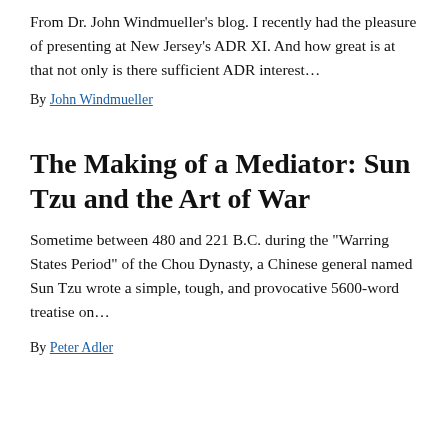From Dr. John Windmueller's blog. I recently had the pleasure of presenting at New Jersey's ADR XI. And how great is at that not only is there sufficient ADR interest…
By John Windmueller
The Making of a Mediator: Sun Tzu and the Art of War
Sometime between 480 and 221 B.C. during the "Warring States Period" of the Chou Dynasty, a Chinese general named Sun Tzu wrote a simple, tough, and provocative 5600-word treatise on…
By Peter Adler